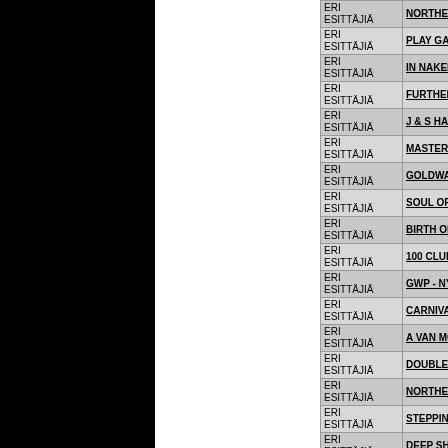| Artist | Title |
| --- | --- |
| ERI ESITTÄJIÄ | NORTHERN SOUL'S CLASSIEST RA... |
| ERI ESITTÄJIÄ | PLAY GAME: XL AND SOUNDS OF M... |
| ERI ESITTÄJIÄ | IN NAKED CITY (CD) |
| ERI ESITTÄJIÄ | FURTHER ADVENTURES OF MOD J... |
| ERI ESITTÄJIÄ | J & S HARLEM SOUL (CD) |
| ERI ESITTÄJIÄ | MASTERPIECES OF MODERN SOUL... |
| ERI ESITTÄJIÄ | GOLDWAX NORTHERN SOUL (CD) |
| ERI ESITTÄJIÄ | SOUL OF MONEY VOLUME 3 (CD) |
| ERI ESITTÄJIÄ | BIRTH OF SOUL: SPECIAL CHICAGO... |
| ERI ESITTÄJIÄ | 100 CLUB ANNIVERSARY SINGLES... |
| ERI ESITTÄJIÄ | GWP - NYC - TLC VOL 2 (CD) |
| ERI ESITTÄJIÄ | CARNIVAL NORTHERN SOUL (CD) |
| ERI ESITTÄJIÄ | A VAN MCCOY SONGBOOK - SWEE... |
| ERI ESITTÄJIÄ | DOUBLE COOKIN' - CLASSIC NORT... |
| ERI ESITTÄJIÄ | NORTHERN SOUL'S CLASSIEST RA... |
| ERI ESITTÄJIÄ | STEPPIN' STONE: XL AND SOUNDS... |
| ERI ESITTÄJIÄ | DEEP SHADOWS: BEST OF KENT B... |
| ERI ESITTÄJIÄ | NORTHERN SOUL'S GUILTY SECRE... |